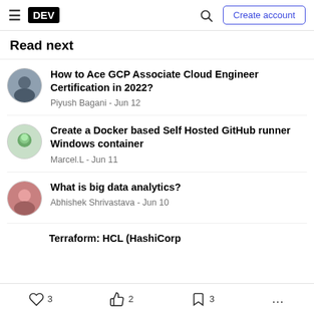DEV | Create account
Read next
How to Ace GCP Associate Cloud Engineer Certification in 2022? — Piyush Bagani - Jun 12
Create a Docker based Self Hosted GitHub runner Windows container — Marcel.L - Jun 11
What is big data analytics? — Abhishek Shrivastava - Jun 10
Terraform: HCL (HashiCorp...
♡ 3   ✋ 2   🔖 3   ...